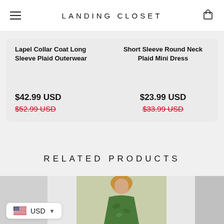LANDING CLOSET
Lapel Collar Coat Long Sleeve Plaid Outerwear
$42.99 USD
$52.99 USD (original, strikethrough)
Short Sleeve Round Neck Plaid Mini Dress
$23.99 USD
$33.99 USD (original, strikethrough)
RELATED PRODUCTS
[Figure (photo): Woman in green floral dress, model photo for related products section]
USD